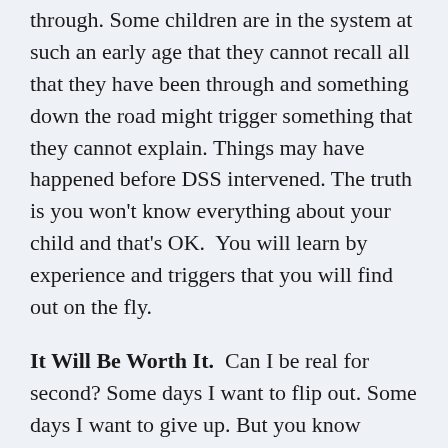through. Some children are in the system at such an early age that they cannot recall all that they have been through and something down the road might trigger something that they cannot explain. Things may have happened before DSS intervened. The truth is you won't know everything about your child and that's OK.  You will learn by experience and triggers that you will find out on the fly.
It Will Be Worth It.  Can I be real for second? Some days I want to flip out. Some days I want to give up. But you know what? At the end of the day, this journey is worth every second. Maybe not in the moment after a melt down, but in hindsight, I would let...